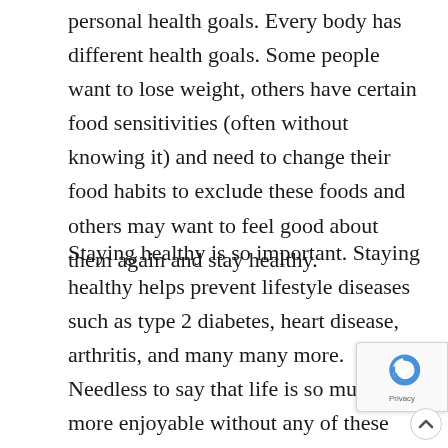personal health goals. Every body has different health goals. Some people want to lose weight, others have certain food sensitivities (often without knowing it) and need to change their food habits to exclude these foods and others may want to feel good about them again and stay healthy.
Staying healthy is so important. Staying healthy helps prevent lifestyle diseases such as type 2 diabetes, heart disease, arthritis, and many many more. Needless to say that life is so much more enjoyable without any of these ailments. But how do you become healthy? And how do you STAY healthy?